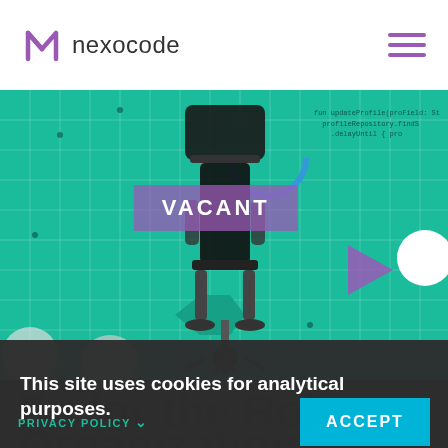[Figure (screenshot): Nexocode logo with purple N icon and hamburger menu on white header]
[Figure (photo): Hero banner with teal/green background showing a vacant office chair in center, code text top right, geometric shapes, decorative dots, people silhouettes at bottom left, VACANT label overlay]
This site uses cookies for analytical purposes.
Fit for the Role, Organization,
PRIVACY POLICY
ACCEPT